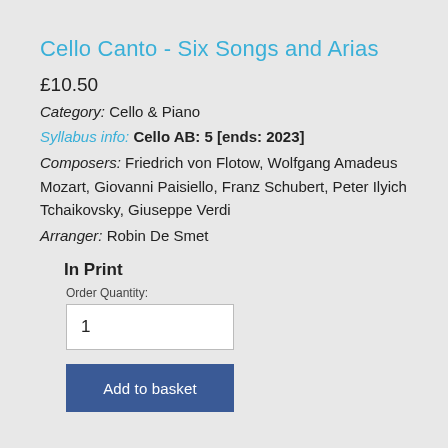Cello Canto - Six Songs and Arias
£10.50
Category: Cello & Piano
Syllabus info: Cello AB: 5 [ends: 2023]
Composers: Friedrich von Flotow, Wolfgang Amadeus Mozart, Giovanni Paisiello, Franz Schubert, Peter Ilyich Tchaikovsky, Giuseppe Verdi
Arranger: Robin De Smet
In Print
Order Quantity:
1
Add to basket